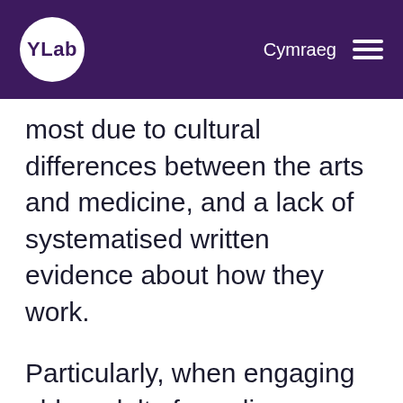YLab | Cymraeg
most due to cultural differences between the arts and medicine, and a lack of systematised written evidence about how they work.
Particularly, when engaging older adults from diverse communities with experiences of social isolation and chronic conditions, there are additional complications such as digital literacy, access to technology, capacity to consent as well as cultural preferences